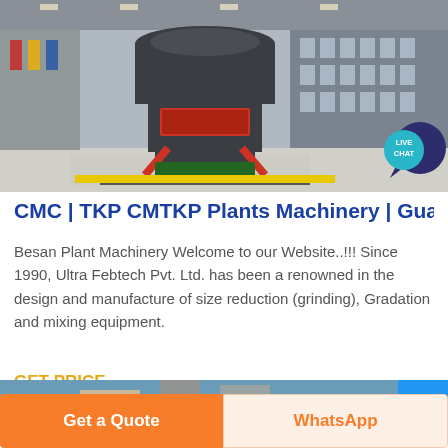[Figure (photo): Industrial machinery photo showing a large vertical grinding/milling machine in a factory setting with grey steel structure, red support legs and green base, inside a large industrial hall with steel framework ceiling.]
CMC | TKP CMTKP Plants Machinery | Guar
Besan Plant Machinery Welcome to our Website..!!! Since 1990, Ultra Febtech Pvt. Ltd. has been a renowned in the design and manufacture of size reduction (grinding), Gradation and mixing equipment.
GET PRICE
[Figure (photo): Partial view of another industrial machinery or factory setting, showing the bottom edge of an image with blue block partially visible at right.]
Get a Quote
WhatsApp